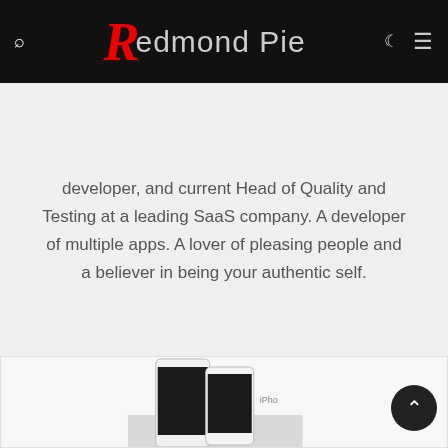Redmond Pie
developer, and current Head of Quality and Testing at a leading SaaS company. A developer of multiple apps. A lover of pleasing people and a believer in being your authentic self.
[Figure (photo): Two iPhone models displayed side by side, showing the front face with black screens on a light background, with 'iPhone' text partially visible to the right.]